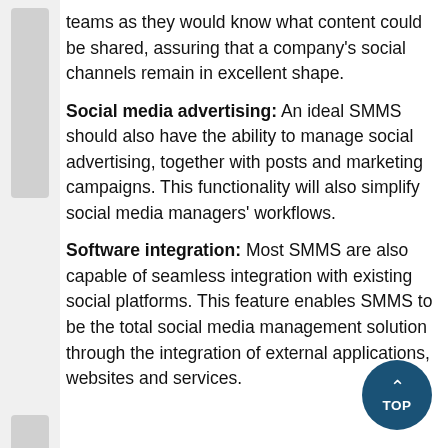teams as they would know what content could be shared, assuring that a company's social channels remain in excellent shape.
Social media advertising: An ideal SMMS should also have the ability to manage social advertising, together with posts and marketing campaigns. This functionality will also simplify social media managers' workflows.
Software integration: Most SMMS are also capable of seamless integration with existing social platforms. This feature enables SMMS to be the total social media management solution through the integration of external applications, websites and services.